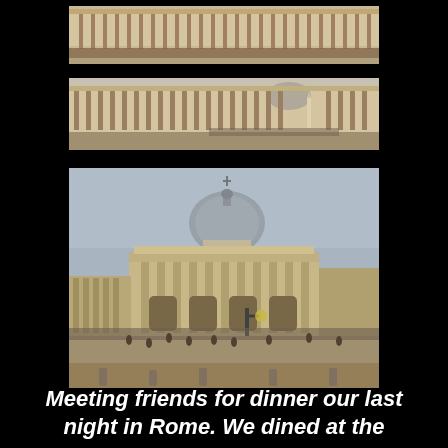[Figure (photo): Panoramic strip photo of a long colonnaded building facade with crowds of people, likely St. Peter's Square colonnades in Vatican City, Rome. Warm toned photograph.]
[Figure (photo): Second panoramic strip photo of St. Peter's Square showing the full colonnade arc with St. Peter's Basilica dome visible in the background and an obelisk. Warm toned photograph.]
[Figure (photo): Large photograph of St. Peter's Basilica facade with the large dome, columns, statues, and broad plaza in front filled with tourists. Street lamp visible in the foreground.]
Meeting friends for dinner our last night in Rome. We dined at the